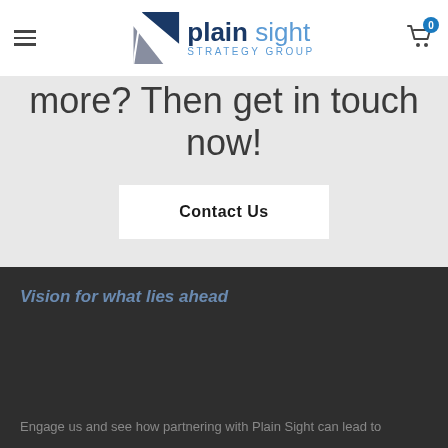[Figure (logo): Plain Sight Strategy Group logo with triangular icon and text]
more? Then get in touch now!
Contact Us
Vision for what lies ahead
Engage us and see how partnering with Plain Sight can lead to